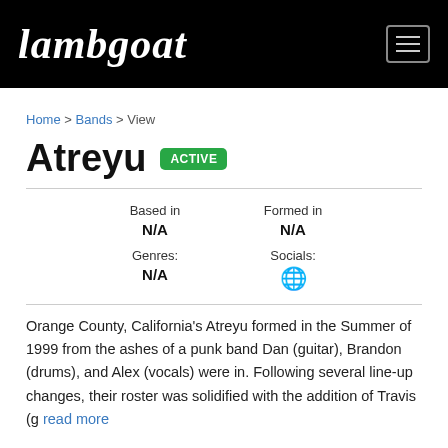Lambgoat
Home > Bands > View
Atreyu  ACTIVE
| Based in | Formed in |
| --- | --- |
| N/A | N/A |
| Genres: | Socials: |
| --- | --- |
| N/A | 🌐 |
Orange County, California's Atreyu formed in the Summer of 1999 from the ashes of a punk band Dan (guitar), Brandon (drums), and Alex (vocals) were in. Following several line-up changes, their roster was solidified with the addition of Travis (g read more